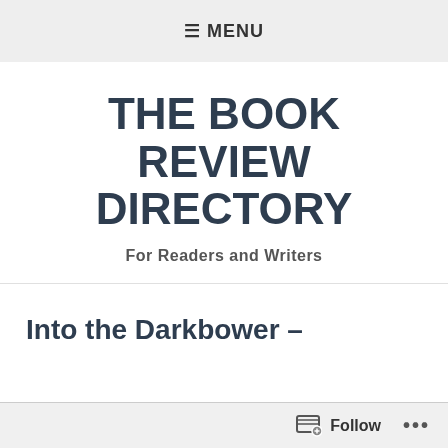≡ MENU
THE BOOK REVIEW DIRECTORY
For Readers and Writers
Into the Darkbower –